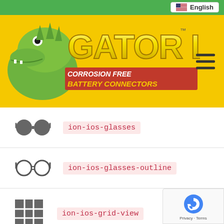[Figure (logo): Gator Loc - Corrosion Free Battery Connectors logo with yellow banner, green alligator mascot, and hamburger menu icon]
ion-ios-glasses
ion-ios-glasses-outline
ion-ios-grid-view